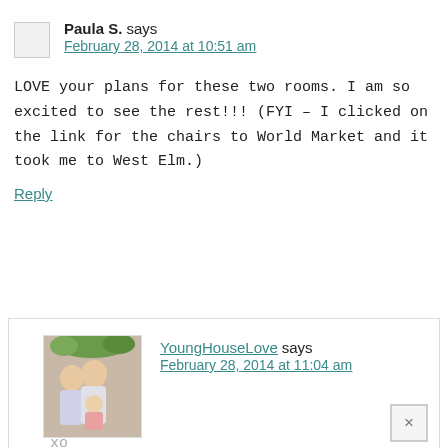Paula S. says
February 28, 2014 at 10:51 am
LOVE your plans for these two rooms. I am so excited to see the rest!!! (FYI – I clicked on the link for the chairs to World Market and it took me to West Elm.)
Reply
[Figure (photo): Profile photo of YoungHouseLove showing a couple with a child]
YoungHouseLove says
February 28, 2014 at 11:04 am
Sorry Paula! All fixed!
xo